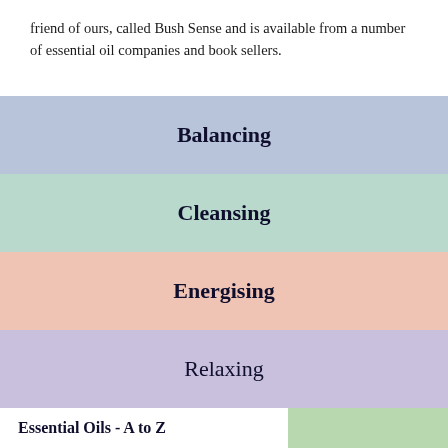friend of ours, called Bush Sense and is available from a number of essential oil companies and book sellers.
Balancing
Cleansing
Energising
Relaxing
Essential Oils - A to Z